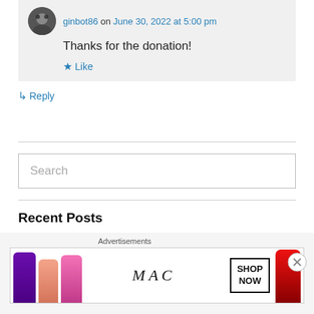ginbot86 on June 30, 2022 at 5:00 pm
Thanks for the donation!
★ Like
↳ Reply
Search
Recent Posts
Advertisements
[Figure (photo): MAC cosmetics advertisement banner showing lipsticks in purple, pink, and red colors with MAC logo and SHOP NOW button]